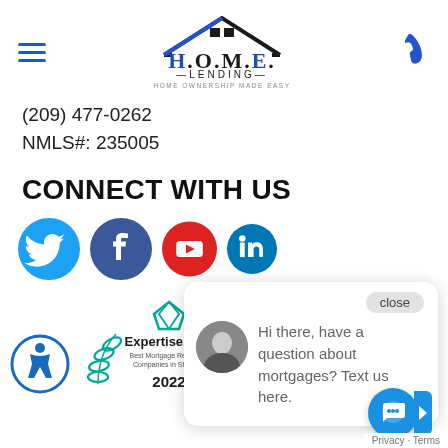[Figure (logo): H.O.M.E. Lending logo - Home Ownership Made Easy, with house roofline graphic]
(209) 477-0262
NMLS#: 235005
CONNECT WITH US
[Figure (illustration): Social media icons row: Twitter (blue bird), Facebook (blue f), YouTube (red), LinkedIn (blue)]
[Figure (illustration): Expertise.com badge - Best Mortgage Refinance Companies in Stockton 2022, with teal laurel wreath]
[Figure (illustration): Accessibility icon badge (blue circle with wheelchair symbol)]
close
Hi there, have a question about mortgages? Text us here.